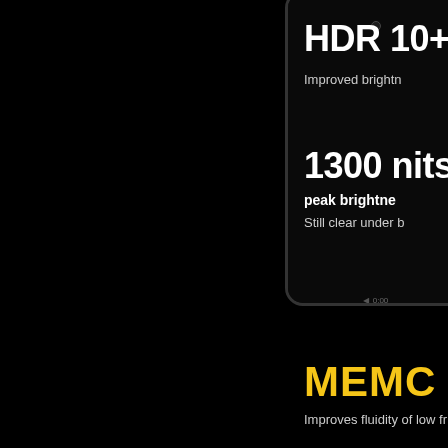[Figure (photo): Smartphone mockup showing a dark screen with camera hole and bottom navigation bar, partially visible from the right side of the frame]
HDR 10+
Improved brightn
1300 nits
peak brightne
Still clear under b
MEMC T
Improves fluidity of low fr